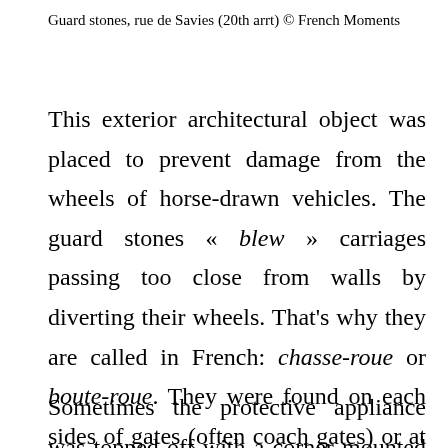Guard stones, rue de Savies (20th arrt) © French Moments
This exterior architectural object was placed to prevent damage from the wheels of horse-drawn vehicles. The guard stones « blew » carriages passing too close from walls by diverting their wheels. That's why they are called in French: chasse-roue or boute-roue. They were found on each sides of gates (often coach gates) or at street corners.
Sometimes the protective appliance was topped off with a corner mounted protector